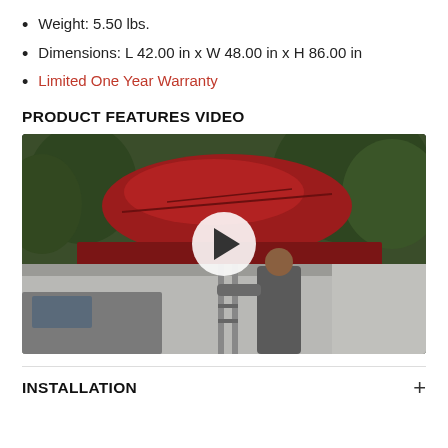Weight: 5.50 lbs.
Dimensions: L 42.00 in x W 48.00 in x H 86.00 in
Limited One Year Warranty
PRODUCT FEATURES VIDEO
[Figure (photo): Video thumbnail showing a red rooftop tent mounted on a vehicle with a grey awning/skirt and a man standing next to it, with a play button overlay in the center. Background shows green trees.]
INSTALLATION